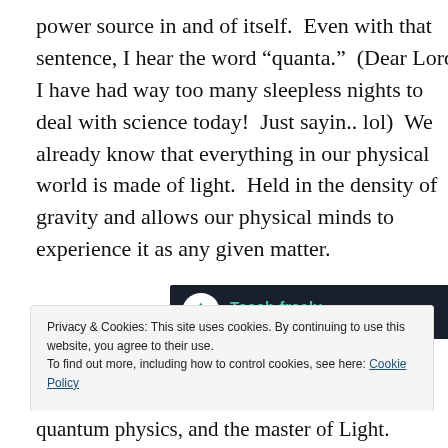power source in and of itself.  Even with that sentence, I hear the word “quanta.”  (Dear Lord, I have had way too many sleepless nights to deal with science today!  Just sayin.. lol)  We already know that everything in our physical world is made of light.  Held in the density of gravity and allows our physical minds to experience it as any given matter.
[Figure (screenshot): Advertisement banner with dark background showing 'Teach freely — Make money selling online courses.' with a bonsai tree icon on the left.]
Privacy & Cookies: This site uses cookies. By continuing to use this website, you agree to their use.
To find out more, including how to control cookies, see here: Cookie Policy
quantum physics, and the master of Light.